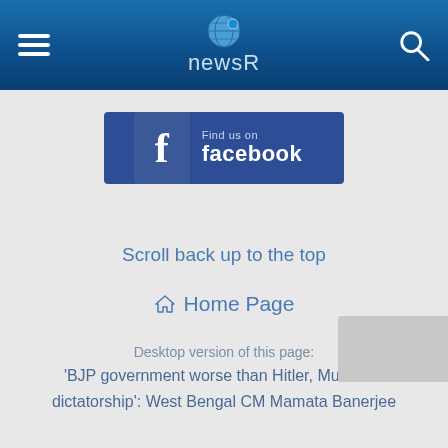newsR
[Figure (logo): Find us on Facebook banner with Facebook logo icon]
Scroll back up to the top
Home Page
Desktop version of this page: 'BJP government worse than Hitler, Mussolini dictatorship': West Bengal CM Mamata Banerjee